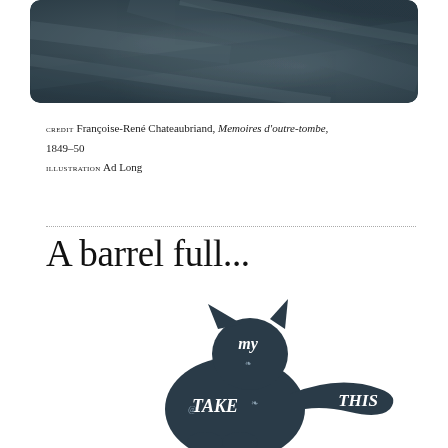[Figure (illustration): Dark textured image with a curved/rounded rectangle shape showing a dark blue-grey stone or sky background]
CREDIT Françoise-René Chateaubriand, Memoires d'outre-tombe, 1849–50
ILLUSTRATION Ad Long
A barrel full...
[Figure (illustration): Dark navy cat silhouette illustration with decorative lettering inside reading 'my' on the head and 'TAKE', 'THIS' on the body/tail area, with ornamental design elements]